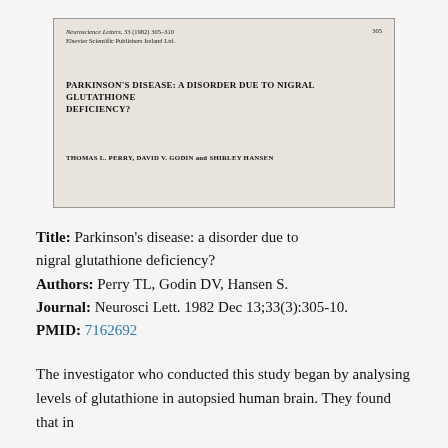[Figure (screenshot): Scanned image of a journal article header from Neuroscience Letters, vol. 33 (1982), pages 305-310, published by Elsevier Scientific Publishers Ireland Ltd. Title: PARKINSON'S DISEASE: A DISORDER DUE TO NIGRAL GLUTATHIONE DEFICIENCY? Authors: THOMAS L. PERRY, DAVID V. GODIN and SHIRLEY HANSEN]
Title: Parkinson's disease: a disorder due to nigral glutathione deficiency?
Authors: Perry TL, Godin DV, Hansen S.
Journal: Neurosci Lett. 1982 Dec 13;33(3):305-10.
PMID: 7162692
The investigator who conducted this study began by analysing levels of glutathione in autopsied human brain. They found that in